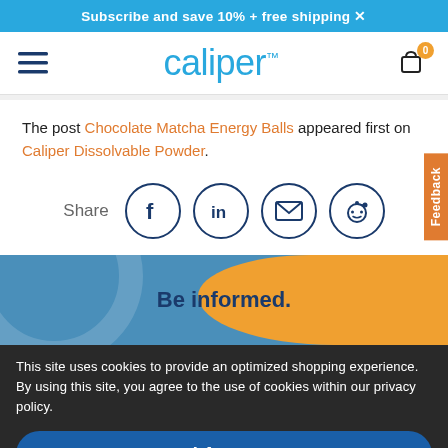Subscribe and save 10% + free shipping
[Figure (logo): Caliper brand logo with hamburger menu and cart icon showing 0 items]
The post Chocolate Matcha Energy Balls appeared first on Caliper Dissolvable Powder.
[Figure (infographic): Share buttons: Facebook, LinkedIn, Email, Reddit]
Be informed.
This site uses cookies to provide an optimized shopping experience. By using this site, you agree to the use of cookies within our privacy policy.
I Agree